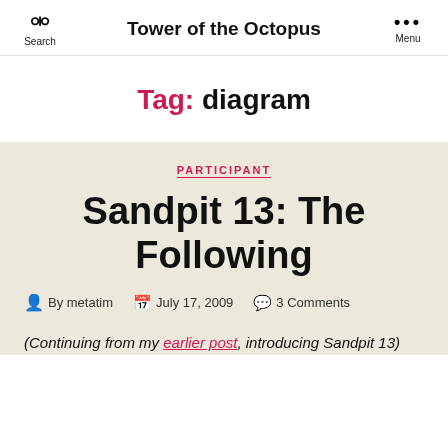Tower of the Octopus
Tag: diagram
PARTICIPANT
Sandpit 13: The Following
By metatim   July 17, 2009   3 Comments
(Continuing from my earlier post, introducing Sandpit 13)